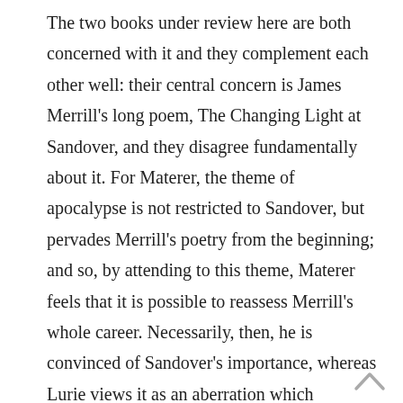The two books under review here are both concerned with it and they complement each other well: their central concern is James Merrill's long poem, The Changing Light at Sandover, and they disagree fundamentally about it. For Materer, the theme of apocalypse is not restricted to Sandover, but pervades Merrill's poetry from the beginning; and so, by attending to this theme, Materer feels that it is possible to reassess Merrill's whole career. Necessarily, then, he is convinced of Sandover's importance, whereas Lurie views it as an aberration which wreaked havoc in Merrill's personal life, parasitically feeding off the creative energies of Merrill's lifelong partner, David Jackson, and estranging him from friends for long periods. Further, where Materer's approach is dryly LitCrit, Lurie's is the intimate memoir of someone who was close to the two lovers in the 1950s and later on in the late '70s and '80s. But Materer also offers privileged knowledge of a kind as